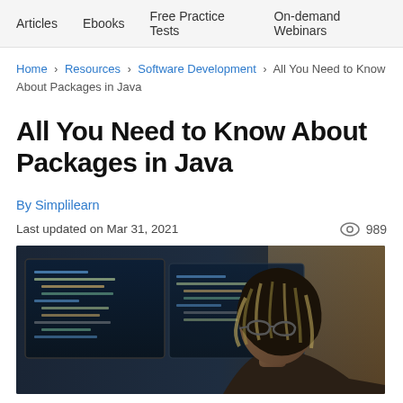Articles   Ebooks   Free Practice Tests   On-demand Webinars
Home > Resources > Software Development > All You Need to Know About Packages in Java
All You Need to Know About Packages in Java
By Simplilearn
Last updated on Mar 31, 2021   989
[Figure (photo): A person with dreadlocks wearing glasses viewed from behind/side, looking at computer monitors displaying code in a dark environment]